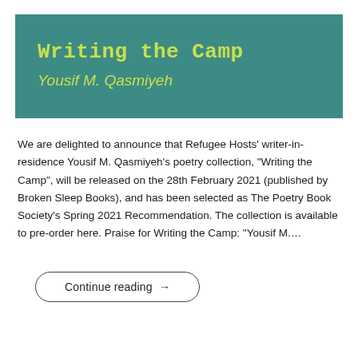Writing the Camp
Yousif M. Qasmiyeh
We are delighted to announce that Refugee Hosts' writer-in-residence Yousif M. Qasmiyeh's poetry collection, "Writing the Camp", will be released on the 28th February 2021 (published by Broken Sleep Books), and has been selected as The Poetry Book Society's Spring 2021 Recommendation. The collection is available to pre-order here. Praise for Writing the Camp: “Yousif M.…
Continue reading →